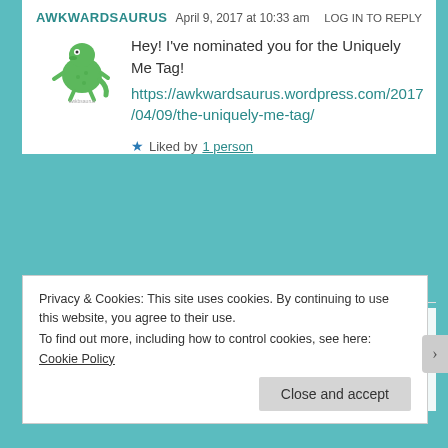AWKWARDSAURUS   April 9, 2017 at 10:33 am   LOG IN TO REPLY
Hey! I've nominated you for the Uniquely Me Tag!
https://awkwardsaurus.wordpress.com/2017/04/09/the-uniquely-me-tag/
★ Liked by 1 person
FLAWEDSILENCE   April 9, 2017 at 11:42 am   LOG IN TO REPLY
Aw thank you so much!
Privacy & Cookies: This site uses cookies. By continuing to use this website, you agree to their use.
To find out more, including how to control cookies, see here: Cookie Policy
Close and accept